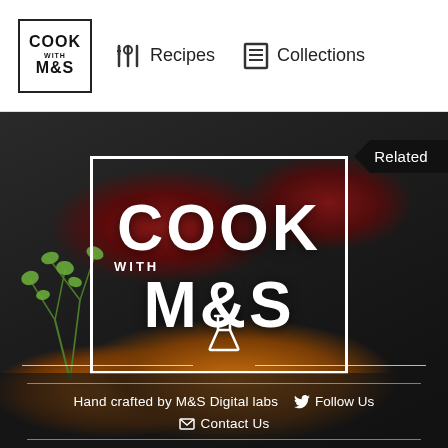[Figure (logo): Cook with M&S logo in header - square bordered box with COOK / with / M&S text]
Recipes   Collections
[Figure (photo): Dark background food photo showing halved red tomatoes/plums and golden grilled bread/halloumi with fresh herbs, overlaid with 'COOK with M&S' branding in white text inside a white rectangle border. A 'Related' tag appears in top-right corner.]
Hand crafted by M&S Digital labs   Follow Us   Contact Us